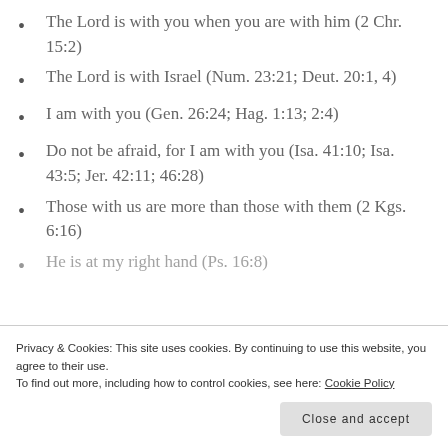The Lord is with you when you are with him (2 Chr. 15:2)
The Lord is with Israel (Num. 23:21; Deut. 20:1, 4)
I am with you (Gen. 26:24; Hag. 1:13; 2:4)
Do not be afraid, for I am with you (Isa. 41:10; Isa. 43:5; Jer. 42:11; 46:28)
Those with us are more than those with them (2 Kgs. 6:16)
He is at my right hand (Ps. 16:8)
Privacy & Cookies: This site uses cookies. By continuing to use this website, you agree to their use. To find out more, including how to control cookies, see here: Cookie Policy